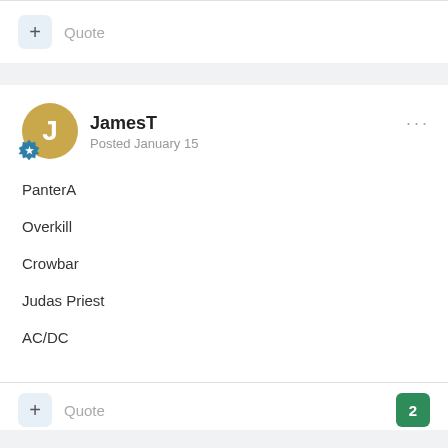+ Quote
JamesT
Posted January 15
PanterA
Overkill
Crowbar
Judas Priest
AC/DC
+ Quote
2